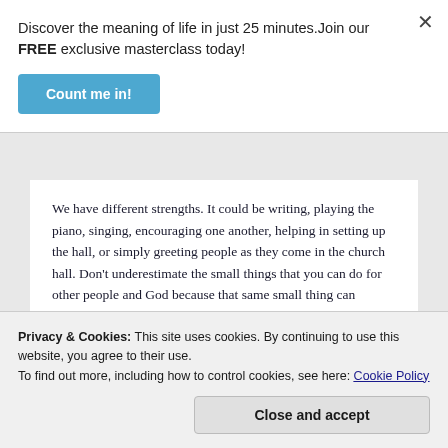Discover the meaning of life in just 25 minutes.Join our FREE exclusive masterclass today!
Count me in!
We have different strengths. It could be writing, playing the piano, singing, encouraging one another, helping in setting up the hall, or simply greeting people as they come in the church hall. Don't underestimate the small things that you can do for other people and God because that same small thing can potentially occupy the
Privacy & Cookies: This site uses cookies. By continuing to use this website, you agree to their use.
To find out more, including how to control cookies, see here: Cookie Policy
Close and accept
strength for the glory of God.